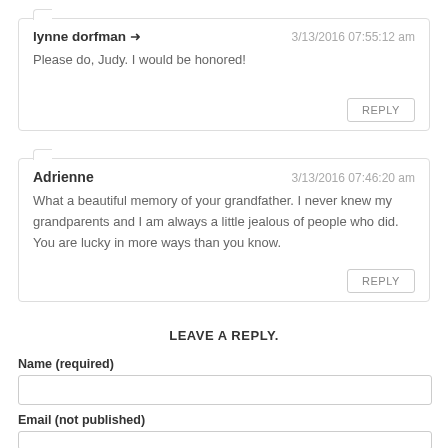lynne dorfman → | 3/13/2016 07:55:12 am
Please do, Judy. I would be honored!
Adrienne | 3/13/2016 07:46:20 am
What a beautiful memory of your grandfather. I never knew my grandparents and I am always a little jealous of people who did. You are lucky in more ways than you know.
LEAVE A REPLY.
Name (required)
Email (not published)